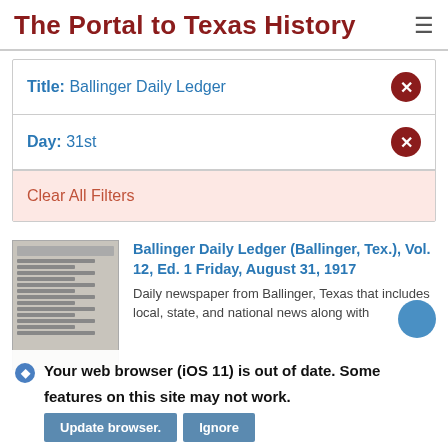The Portal to Texas History
Title: Ballinger Daily Ledger
Day: 31st
Clear All Filters
[Figure (photo): Thumbnail of newspaper front page of Ballinger Daily Ledger]
Ballinger Daily Ledger (Ballinger, Tex.), Vol. 12, Ed. 1 Friday, August 31, 1917
Daily newspaper from Ballinger, Texas that includes local, state, and national news along with
Your web browser (iOS 11) is out of date. Some features on this site may not work.